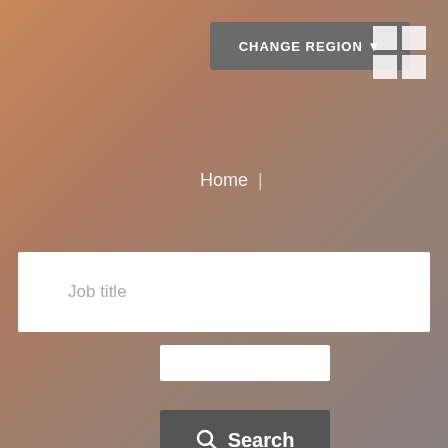CHANGE REGION ▼
[Figure (other): 2x2 grid icon of white squares]
Home |
Job title
Search